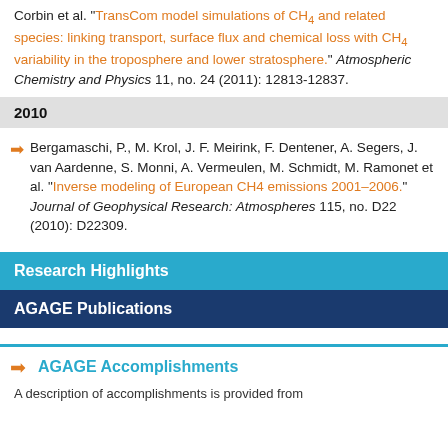Corbin et al. "TransCom model simulations of CH4 and related species: linking transport, surface flux and chemical loss with CH4 variability in the troposphere and lower stratosphere." Atmospheric Chemistry and Physics 11, no. 24 (2011): 12813-12837.
2010
Bergamaschi, P., M. Krol, J. F. Meirink, F. Dentener, A. Segers, J. van Aardenne, S. Monni, A. Vermeulen, M. Schmidt, M. Ramonet et al. "Inverse modeling of European CH4 emissions 2001-2006." Journal of Geophysical Research: Atmospheres 115, no. D22 (2010): D22309.
Research Highlights
AGAGE Publications
AGAGE Accomplishments
A description of accomplishments is provided from